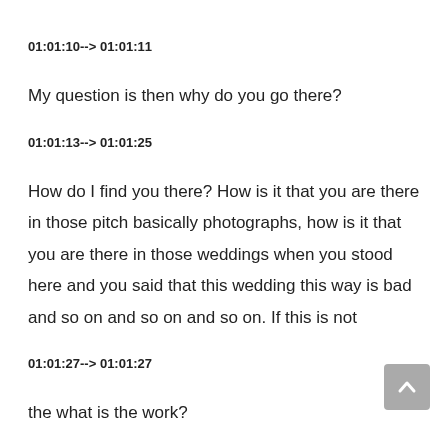01:01:10--> 01:01:11
My question is then why do you go there?
01:01:13--> 01:01:25
How do I find you there? How is it that you are there in those pitch basically photographs, how is it that you are there in those weddings when you stood here and you said that this wedding this way is bad and so on and so on and so on. If this is not
01:01:27--> 01:01:27
the what is the work?
01:01:29--> 01:01:32
If you if this does not make you a hypocrite what makes you a